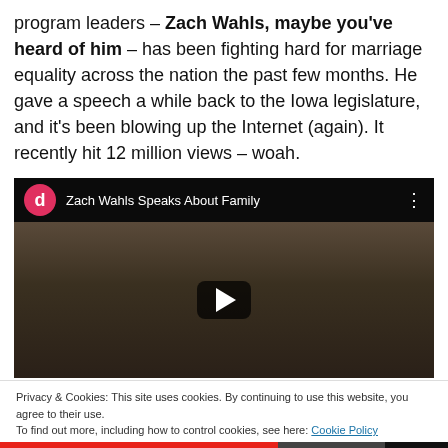program leaders – Zach Wahls, maybe you've heard of him – has been fighting hard for marriage equality across the nation the past few months. He gave a speech a while back to the Iowa legislature, and it's been blowing up the Internet (again). It recently hit 12 million views – woah.
[Figure (screenshot): YouTube video embed showing 'Zach Wahls Speaks About Family' with a play button overlay, showing four people standing in what appears to be a legislative chamber.]
Privacy & Cookies: This site uses cookies. By continuing to use this website, you agree to their use. To find out more, including how to control cookies, see here: Cookie Policy